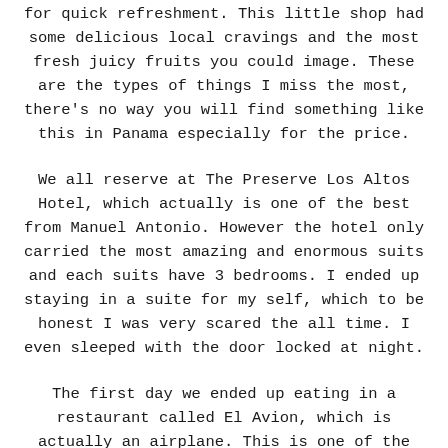for quick refreshment. This little shop had some delicious local cravings and the most fresh juicy fruits you could image. These are the types of things I miss the most, there's no way you will find something like this in Panama especially for the price.
We all reserve at The Preserve Los Altos Hotel, which actually is one of the best from Manuel Antonio. However the hotel only carried the most amazing and enormous suits and each suits have 3 bedrooms. I ended up staying in a suite for my self, which to be honest I was very scared the all time. I even sleeped with the door locked at night.
The first day we ended up eating in a restaurant called El Avion, which is actually an airplane. This is one of the best local restaurants and actually a top attraction, so if you ever find yourself in Manuel Antonio make sure to visit this